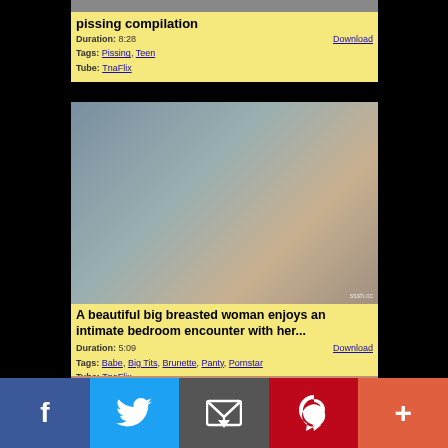[Figure (photo): Partial top of video thumbnail card for pissing compilation]
pissing compilation
Duration: 8:28
Tags: Pissing, Teen
Tube: TnaFlix
Download
[Figure (photo): Video thumbnail showing a man and woman in intimate encounter, watermark sssh.cc]
A beautiful big breasted woman enjoys an intimate bedroom encounter with her...
Duration: 5:09
Tags: Babe, Big Tits, Brunette, Panty, Pornstar
Tube: TnaFlix
Download
[Figure (photo): Partial bottom video thumbnail]
[Figure (infographic): Social share bar: Facebook, Twitter, Email, Pinterest, More buttons]